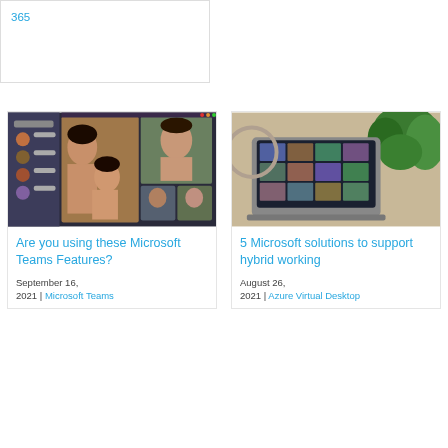365
[Figure (screenshot): Microsoft Teams video call with a family group — woman, girl, and man visible in video tiles with Teams interface on left]
Are you using these Microsoft Teams Features?
September 16, 2021 | Microsoft Teams
[Figure (photo): Laptop on desk showing a video conferencing grid of participants, with green plant leaves in the background]
5 Microsoft solutions to support hybrid working
August 26, 2021 | Azure Virtual Desktop